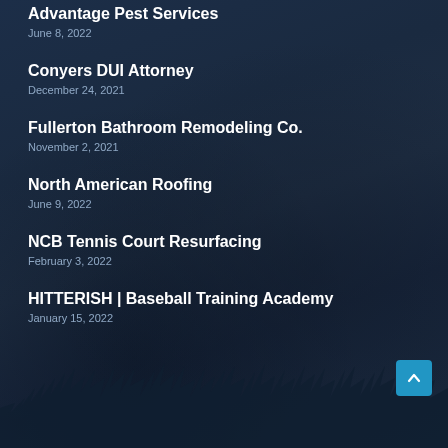Advantage Pest Services
June 8, 2022
Conyers DUI Attorney
December 24, 2021
Fullerton Bathroom Remodeling Co.
November 2, 2021
North American Roofing
June 9, 2022
NCB Tennis Court Resurfacing
February 3, 2022
HITTERISH | Baseball Training Academy
January 15, 2022